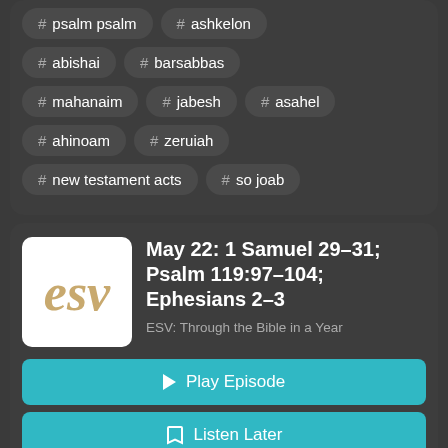# psalm psalm
# ashkelon
# abishai
# barsabbas
# mahanaim
# jabesh
# asahel
# ahinoam
# zeruiah
# new testament acts
# so joab
May 22: 1 Samuel 29–31; Psalm 119:97–104; Ephesians 2–3
ESV: Through the Bible in a Year
Play Episode
Listen Later